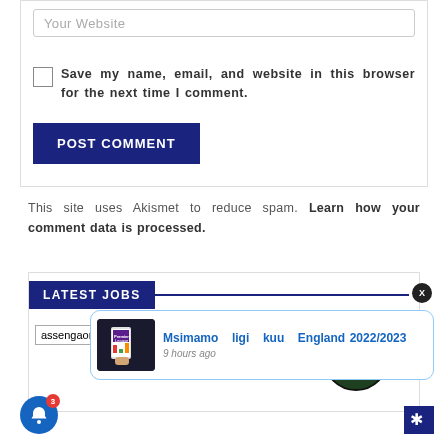Your Website
Save my name, email, and website in this browser for the next time I comment.
POST COMMENT
This site uses Akismet to reduce spam. Learn how your comment data is processed.
LATEST JOBS
[Figure (logo): assengaonline.com logo]
[Figure (screenshot): Notification popup: Msimamo ligi kuu England 2022/2023, 9 hours ago, with Premier League thumbnail]